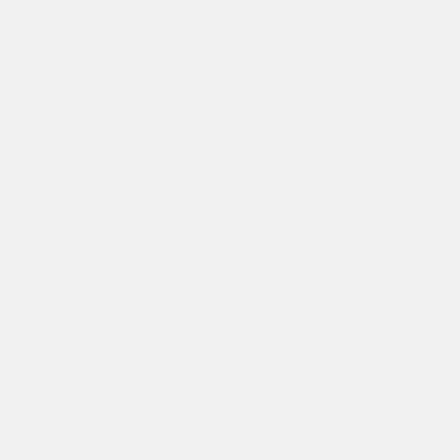[Figure (screenshot): A vertical UI flow/editor panel showing collapsed node boxes with plus expand buttons and a text block containing a description about competing in the Lyft Motion Prediction for Autonomous Vehicles Challenge on Kaggle.]
"""Description:"""
We are planning to compete in the Lyft Motion Prediction for Autonomous Vehicles Challenge on Kaggle. Our goal is to build a motion prediction model for the self-driving car by using our machine learning knowledge as